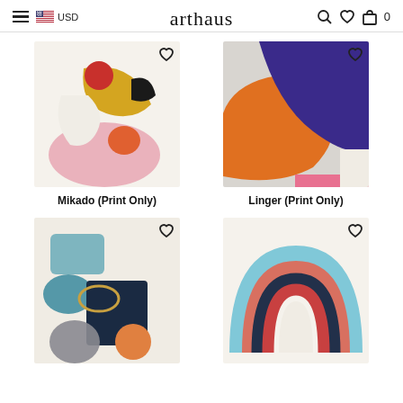arthaus — USD — navigation header with search, wishlist, cart icons
[Figure (illustration): Abstract art print 'Mikado' with pink oval, yellow shape, red circle, black curved shape, orange and white forms on cream background]
Mikado (Print Only)
[Figure (illustration): Abstract art print 'Linger' with large blue/purple shape, orange organic form, pink strip on grey/cream background]
Linger (Print Only)
[Figure (illustration): Abstract art print with teal/blue geometric shapes, dark navy rectangle, grey circle, orange circle and gold ring on cream background]
[Figure (illustration): Rainbow arch art print with concentric arched bands of light blue, salmon/pink, dark blue, red/coral on cream background]